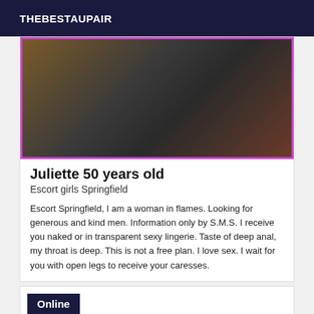THEBESTAUPAIR
[Figure (photo): Profile photo of Juliette, showing a woman in black lingerie]
Juliette 50 years old
Escort girls Springfield
Escort Springfield, I am a woman in flames. Looking for generous and kind men. Information only by S.M.S. I receive you naked or in transparent sexy lingerie. Taste of deep anal, my throat is deep. This is not a free plan. I love sex. I wait for you with open legs to receive your caresses.
Online